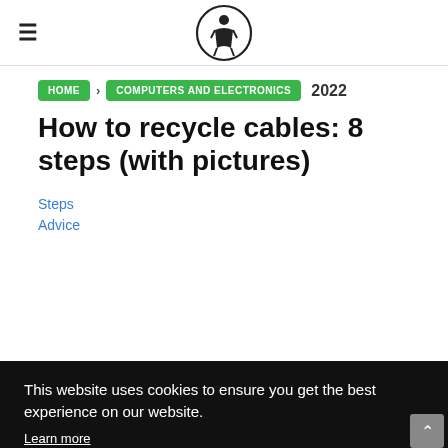WikiHow logo header with hamburger menu
HOME › COMPUTERS AND ELECTRONICS 2022
How to recycle cables: 8 steps (with pictures)
Steps
Advice
This website uses cookies to ensure you get the best experience on our website. Learn more Got it!